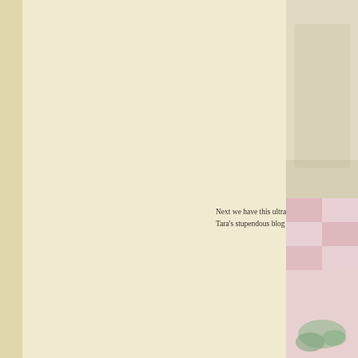[Figure (photo): Partial photo visible at top-right corner of the page, appears to show a food or craft item with light colors]
Next we have this ultra sweet creation from Tara's stupendous blog and be sure to l…
[Figure (photo): Partial photo visible at bottom-right corner of the page, shows a pink/checkered item with some green garnish, appears to be a food or table setting photo]